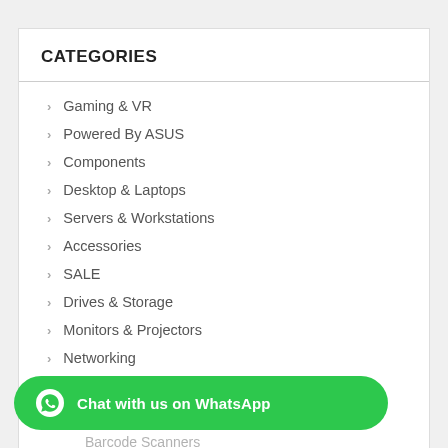CATEGORIES
Gaming & VR
Powered By ASUS
Components
Desktop & Laptops
Servers & Workstations
Accessories
SALE
Drives & Storage
Monitors & Projectors
Networking
POS Hardware
POS Units
Barcode Scanners
[Figure (other): WhatsApp chat button with green background]